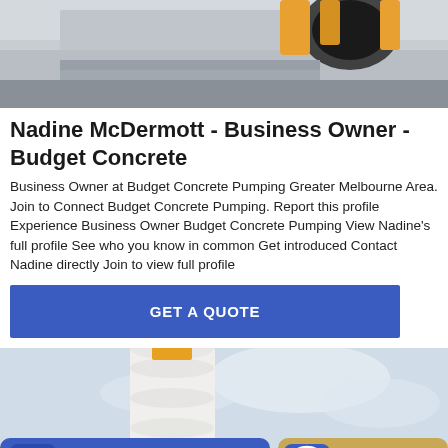[Figure (photo): Top portion of a concrete pumping truck/equipment on a paved surface, partially cropped]
Nadine McDermott - Business Owner - Budget Concrete
Business Owner at Budget Concrete Pumping Greater Melbourne Area. Join to Connect Budget Concrete Pumping. Report this profile Experience Business Owner Budget Concrete Pumping View Nadine's full profile See who you know in common Get introduced Contact Nadine directly Join to view full profile
[Figure (screenshot): Blue 'GET A QUOTE' button]
[Figure (photo): Industrial concrete batching plant silo/tower against a cloudy sky, partially cropped]
[Figure (screenshot): Bottom navigation bar with 'Send Message' blue button and 'Inquiry Online' gold button]